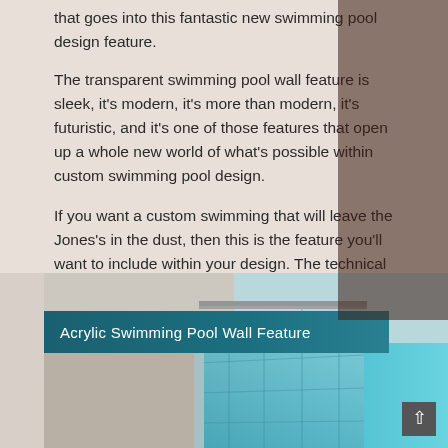that goes into this fantastic new swimming pool design feature.
The transparent swimming pool wall feature is sleek, it's modern, it's more than modern, it's futuristic, and it's one of those features that open up a whole new world of what's possible within custom swimming pool design.
If you want a custom swimming that will leave the Jones's in the dust, then this is the feature you'll want to include within your design. The technical term to describe this transparent pool wall feature is "Open Top Windows." As we mentioned above, this style of pool opens up a whole other world a possibility within the art of custom swimming pool design.
[Figure (illustration): Acrylic swimming pool wall feature illustration showing a modern pool with transparent acrylic walls and teal water, with a teal caption bar reading 'Acrylic Swimming Pool Wall Feature']